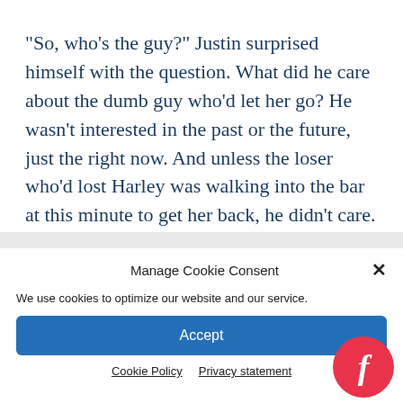“So, who’s the guy?” Justin surprised himself with the question. What did he care about the dumb guy who’d let her go? He wasn’t interested in the past or the future, just the right now. And unless the loser who’d lost Harley was walking into the bar at this minute to get her back, he didn’t care.
Manage Cookie Consent
We use cookies to optimize our website and our service.
Accept
Cookie Policy   Privacy statement